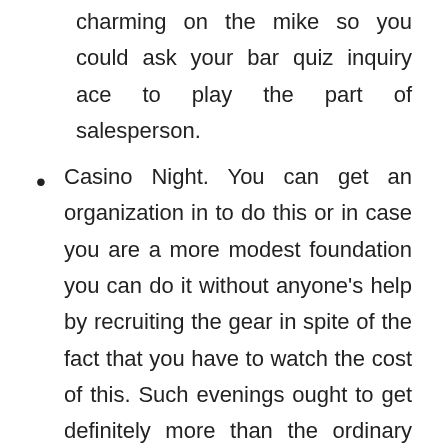charming on the mike so you could ask your bar quiz inquiry ace to play the part of salesperson.
Casino Night. You can get an organization in to do this or in case you are a more modest foundation you can do it without anyone's help by recruiting the gear in spite of the fact that you have to watch the cost of this. Such evenings ought to get definitely more than the ordinary group as individuals like a decent bet. Ensure you are mindful of the laws, likewise with a bar quiz it is anything but difficult to accidentally overstep duplicate